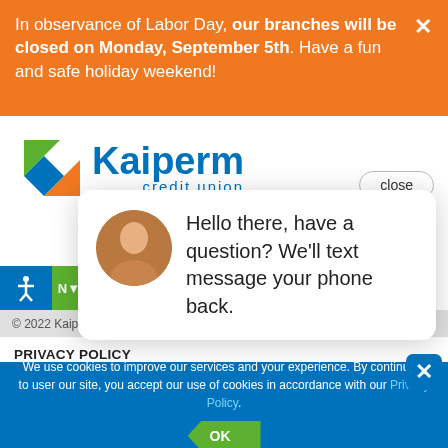In observance of Labor Day, our branches will be closed on Monday, September 5th. Have a fun and safe holiday weekend!
[Figure (logo): Kaiperm Credit Union logo with orange and green geometric shapes]
close
MAKE A
© 2022 Kaip
Hello there, have a question? We'll text message your phone back.
PRIVACY POLICY
We use cookies to improve our services and your experience. By continuing to user our site, you accept our use of cookies in accordance with our Privacy Policy.